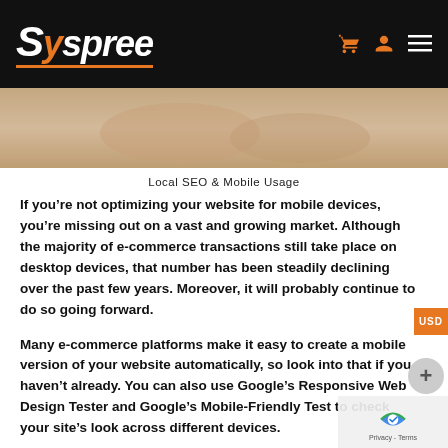Syspree
[Figure (photo): Close-up photo of hands holding a mobile device, warm skin tones]
Local SEO & Mobile Usage
If you’re not optimizing your website for mobile devices, you’re missing out on a vast and growing market. Although the majority of e-commerce transactions still take place on desktop devices, that number has been steadily declining over the past few years. Moreover, it will probably continue to do so going forward.
Many e-commerce platforms make it easy to create a mobile version of your website automatically, so look into that if you haven’t already. You can also use Google’s Responsive Web Design Tester and Google’s Mobile-Friendly Test to check your site’s look across different devices.
Another thing to keep in mind is page speed, especially for mobile. These days, people expect pages to load almost instantly, whether accessing them from a computer or a phone. So if your pages are slow